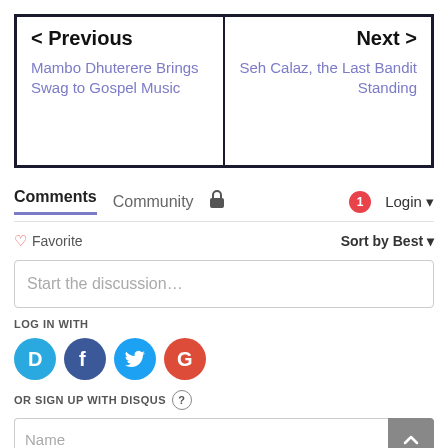< Previous
Mambo Dhuterere Brings Swag to Gospel Music
Next >
Seh Calaz, the Last Bandit Standing
Comments  Community  🔒  1  Login
♡ Favorite    Sort by Best
Start the discussion…
LOG IN WITH
OR SIGN UP WITH DISQUS ?
Name